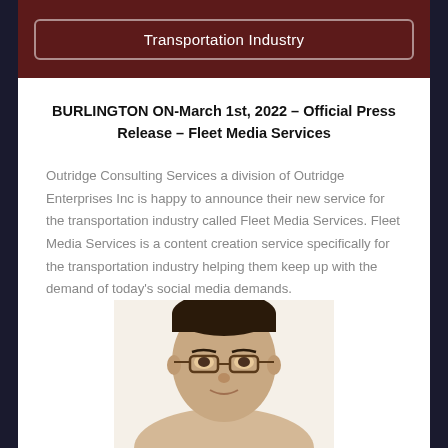Transportation Industry
BURLINGTON ON-March 1st, 2022 – Official Press Release – Fleet Media Services
Outridge Consulting Services a division of Outridge Enterprises Inc is happy to announce their new service for the transportation industry called Fleet Media Services. Fleet Media Services is a content creation service specifically for the transportation industry helping them keep up with the demand of today's social media demands.
[Figure (photo): Headshot photo of a man wearing glasses, cropped at the shoulders, visible from the top of the head to just below the chin]